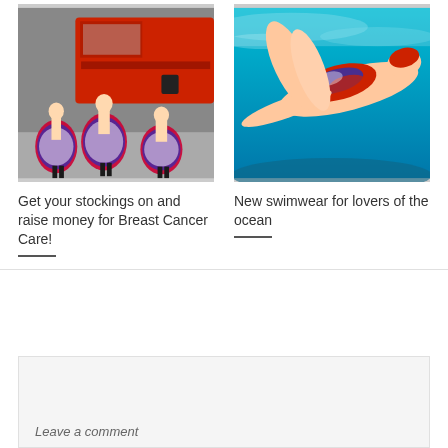[Figure (photo): Three women in red, white and blue cancan dresses dancing on a London street with a red double-decker bus behind them]
[Figure (photo): Underwater photo of a person swimming in a colourful red, white and blue patterned swimsuit in clear turquoise water]
Get your stockings on and raise money for Breast Cancer Care!
New swimwear for lovers of the ocean
Leave a comment